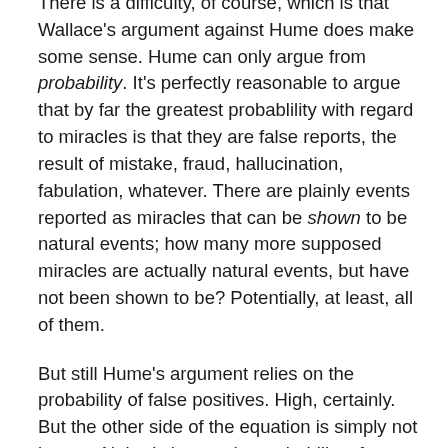There is a difficulty, of course, which is that Wallace's argument against Hume does make some sense. Hume can only argue from probability. It's perfectly reasonable to argue that by far the greatest probablility with regard to miracles is that they are false reports, the result of mistake, fraud, hallucination, fabulation, whatever. There are plainly events reported as miracles that can be shown to be natural events; how many more supposed miracles are actually natural events, but have not been shown to be? Potentially, at least, all of them.
But still Hume's argument relies on the probability of false positives. High, certainly. But the other side of the equation is simply not known. Nobody knows the probability of a